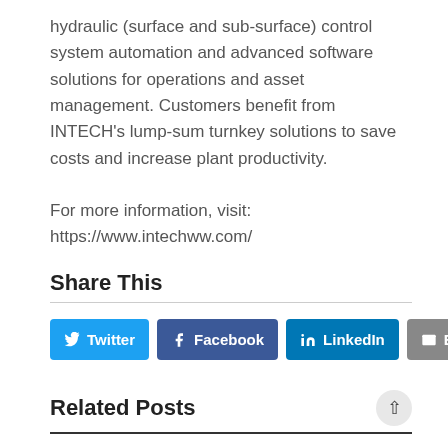hydraulic (surface and sub-surface) control system automation and advanced software solutions for operations and asset management. Customers benefit from INTECH’s lump-sum turnkey solutions to save costs and increase plant productivity.
For more information, visit: https://www.intechww.com/
Share This
[Figure (other): Social share buttons: Twitter, Facebook, LinkedIn, Email]
Related Posts